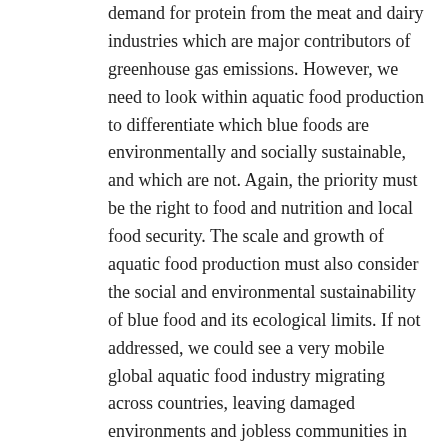demand for protein from the meat and dairy industries which are major contributors of greenhouse gas emissions. However, we need to look within aquatic food production to differentiate which blue foods are environmentally and socially sustainable, and which are not. Again, the priority must be the right to food and nutrition and local food security. The scale and growth of aquatic food production must also consider the social and environmental sustainability of blue food and its ecological limits. If not addressed, we could see a very mobile global aquatic food industry migrating across countries, leaving damaged environments and jobless communities in its wake.
In defending the human rights of workers and their communities, eliminating child labour, protecting the health and well-being of young workers, and taking action on climate change, gender equality and the rights of women is fundamental. As with all